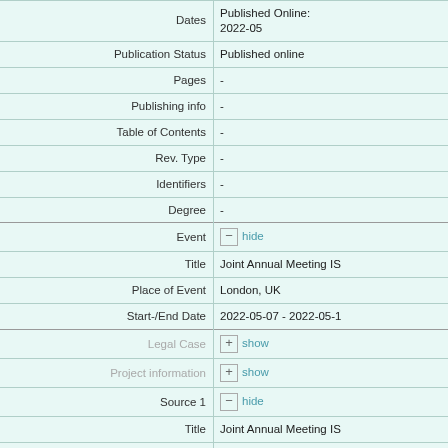| Field | Value |
| --- | --- |
| Dates | Published Online:
2022-05 |
| Publication Status | Published online |
| Pages | - |
| Publishing info | - |
| Table of Contents | - |
| Rev. Type | - |
| Identifiers | - |
| Degree | - |
| Event | hide | Title: Joint Annual Meeting IS | Place of Event: London, UK | Start-/End Date: 2022-05-07 - 2022-05-1... |
| Legal Case | show |
| Project information | show |
| Source 1 | hide | Title: Joint Annual Meeting IS | Source Genre: Proceedings | Creator(s): | Affiliations: |